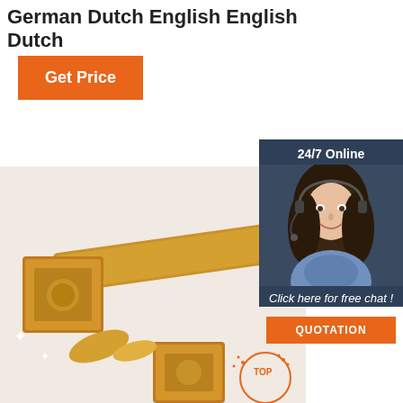German Dutch English English Dutch
Get Price
[Figure (photo): Ornate golden carved wooden furniture or decorative objects on a white fluffy surface]
[Figure (photo): 24/7 Online customer service representative woman wearing headset, smiling]
Click here for free chat !
QUOTATION